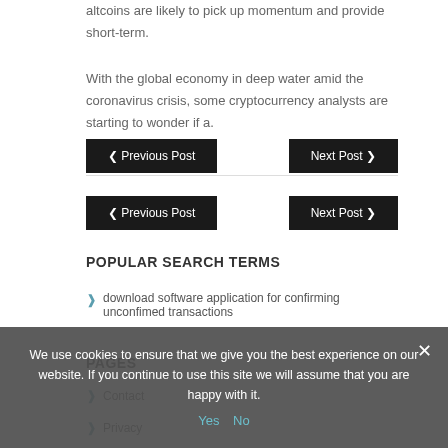altcoins are likely to pick up momentum and provide short-term.
With the global economy in deep water amid the coronavirus crisis, some cryptocurrency analysts are starting to wonder if a.
« Previous Post
Next Post »
« Previous Post
Next Post »
POPULAR SEARCH TERMS
download software application for confirming unconfimed transactions
PAGES
Contact
Privacy
We use cookies to ensure that we give you the best experience on our website. If you continue to use this site we will assume that you are happy with it.
Yes  No